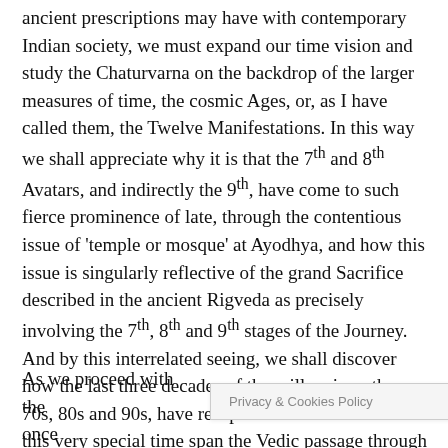ancient prescriptions may have with contemporary Indian society, we must expand our time vision and study the Chaturvarna on the backdrop of the larger measures of time, the cosmic Ages, or, as I have called them, the Twelve Manifestations. In this way we shall appreciate why it is that the 7th and 8th Avatars, and indirectly the 9th, have come to such fierce prominence of late, through the contentious issue of 'temple or mosque' at Ayodhya, and how this issue is singularly reflective of the grand Sacrifice described in the ancient Rigveda as precisely involving the 7th, 8th and 9th stages of the Journey. And by this interrelated seeing, we shall discover how the last three decades of the millennium, the 70s, 80s and 90s, have recapitulated or condensed in this very special time span the Vedic passage through the most dangerous and determining portion of the Circle.
As we proceed with the
Privacy & Cookies Policy